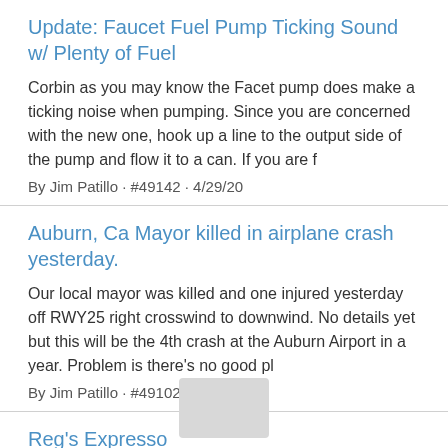Update: Faucet Fuel Pump Ticking Sound w/ Plenty of Fuel
Corbin as you may know the Facet pump does make a ticking noise when pumping. Since you are concerned with the new one, hook up a line to the output side of the pump and flow it to a can. If you are f
By Jim Patillo · #49142 · 4/29/20
Auburn, Ca Mayor killed in airplane crash yesterday.
Our local mayor was killed and one injured yesterday off RWY25 right crosswind to downwind. No details yet but this will be the 4th crash at the Auburn Airport in a year. Problem is there's no good pl
By Jim Patillo · #49102 · 4/19/20
Reg's Expresso
Hi Sam, I don't know much about it other than what Reg said.